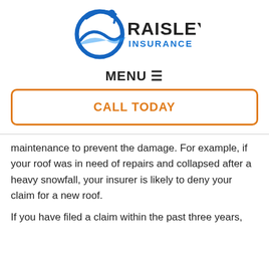[Figure (logo): Raisley Insurance Inc. logo with blue globe and figure icon]
MENU ≡
CALL TODAY
maintenance to prevent the damage. For example, if your roof was in need of repairs and collapsed after a heavy snowfall, your insurer is likely to deny your claim for a new roof.
If you have filed a claim within the past three years,